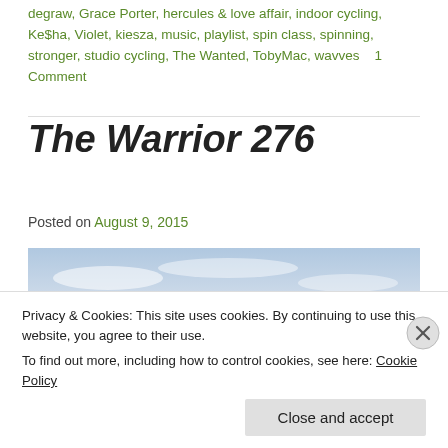degraw, Grace Porter, hercules & love affair, indoor cycling, Ke$ha, Violet, kiesza, music, playlist, spin class, spinning, stronger, studio cycling, The Wanted, TobyMac, wavves   1 Comment
The Warrior 276
Posted on August 9, 2015
[Figure (photo): A wide-angle view of a straight road stretching to the horizon under a partly cloudy sky, with flat grassland on either side.]
Privacy & Cookies: This site uses cookies. By continuing to use this website, you agree to their use.
To find out more, including how to control cookies, see here: Cookie Policy